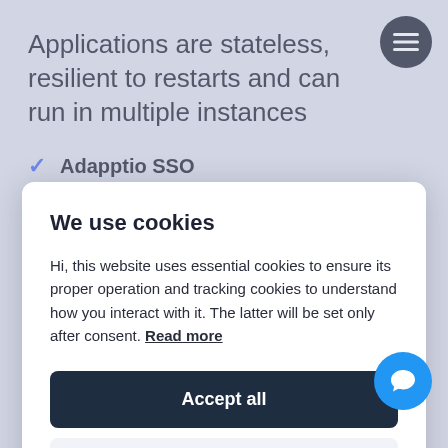Applications are stateless, resilient to restarts and can run in multiple instances
✓ Adapptio SSO
✓ User Management
We use cookies
Hi, this website uses essential cookies to ensure its proper operation and tracking cookies to understand how you interact with it. The latter will be set only after consent. Read more
Accept all
Settings